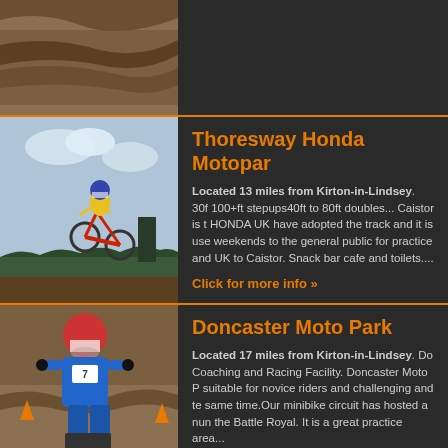[Figure (photo): Aerial view of a dirt motocross track with ridges and berms]
[Figure (photo): Motocross rider on a red Honda dirt bike mid-air jump against sky background]
Thoresway Honda Motopark
Located 13 miles from Kirton-in-Lindsey. 30ft 100+ft stepups40ft to 80ft doubles... Caistor is the HONDA UK have adopted the track and it is used weekends to the general public for practice and UK to Caistor. Snack bar cafe and toilets....
Click for more info »
[Figure (photo): Motocross rider in blue gear on dirt track with orange cones]
Doncaster Moto Park
Located 17 miles from Kirton-in-Lindsey. Doncaster Coaching and Racing Facility. Doncaster Moto Park suitable for novice riders and challenging and te same time.Our minibike circuit has hosted a num the Battle Royal. It is a great practice area...